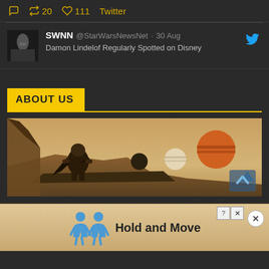20  111  Twitter
[Figure (screenshot): Tweet card from SWNN @StarWarsNewsNet dated 30 Aug with Twitter bird icon and truncated text: Damon Lindelof Regularly Spotted on Disney...]
ABOUT US
[Figure (illustration): Banner illustration showing a Mandalorian-like armored figure walking on a rocky platform with alien planets and moons in a desert sky background]
starwarsnewsnet.com was established on October 30, 2012. The date when Disney announced the acquisition of Lucasfilm and their plans for a new Star Wars re...
[Figure (screenshot): Ad overlay with two blue cartoon figures and text: Hold and Move, with close button]